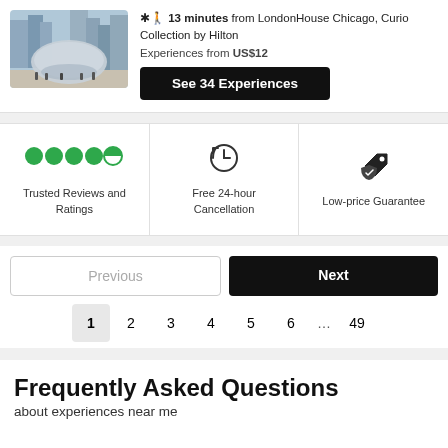[Figure (photo): Photo of the Cloud Gate (Bean) sculpture in Chicago's Millennium Park with skyscrapers in background]
🚶 13 minutes from LondonHouse Chicago, Curio Collection by Hilton
Experiences from US$12
See 34 Experiences
[Figure (infographic): Trusted Reviews and Ratings icon with green dots rating]
Trusted Reviews and Ratings
[Figure (infographic): Free 24-hour Cancellation icon]
Free 24-hour Cancellation
[Figure (infographic): Low-price Guarantee icon]
Low-price Guarantee
Previous
Next
1  2  3  4  5  6  ...  49
Frequently Asked Questions
about experiences near me